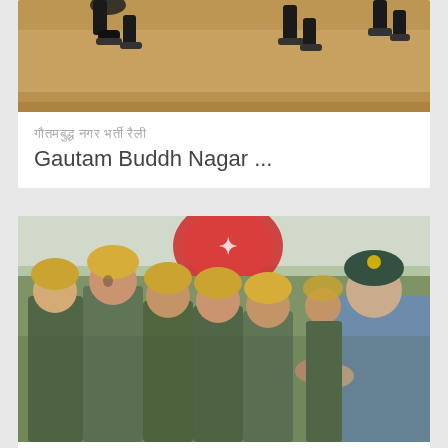[Figure (photo): Top portion of a photo showing running feet on a dirt track, partial view]
गौतमबुद्ध नगर भर्ती रैली Gautam Buddh Nagar ...
[Figure (photo): Army soldiers in camouflage uniforms with yellow caps being greeted by a senior officer in a blue jacket and beret at an army rally]
प्रतापगढ़ सेना भर्ती Pratapgarh UP Army Rally ...